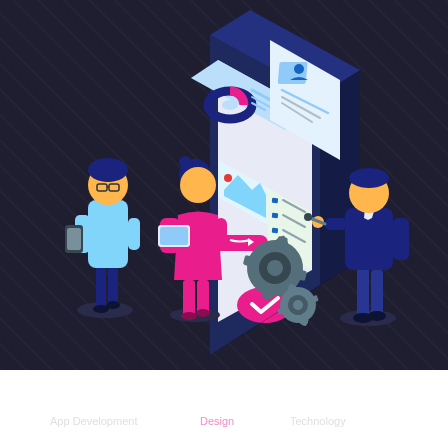[Figure (illustration): Isometric illustration of mobile app development/design scene. Dark background with diagonal pattern. Three people: a man in light blue holding a phone on the left, a woman in pink holding a tablet in the center-left, and a man in dark blue on the right interacting with a large mobile phone screen. The large phone displays UI screens with charts (donut chart in pink and dark blue), profile card, image placeholder, and list items. Gear/cog icons in blue-grey in the lower center. A pink circular checkmark button at the bottom center of the phone. Figures stand on dark oval shadow bases.]